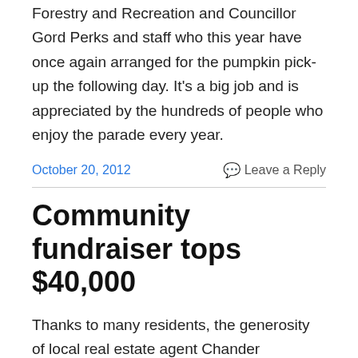Forestry and Recreation and Councillor Gord Perks and staff who this year have once again arranged for the pumpkin pick-up the following day. It's a big job and is appreciated by the hundreds of people who enjoy the parade every year.
October 20, 2012    Leave a Reply
Community fundraiser tops $40,000
Thanks to many residents, the generosity of local real estate agent Chander Chaddah, and proceeds donated by the recent Little City Festival, the Sorauren Park Town Square community fundraising campaign has surpassed its initial $40,000 goal and now sits at more than $48,000